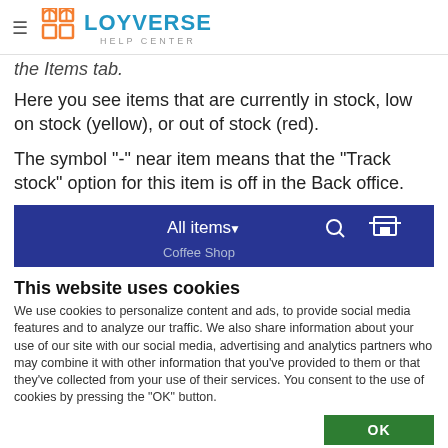LOYVERSE HELP CENTER
the items tab.
Here you see items that are currently in stock, low on stock (yellow), or out of stock (red).
The symbol "-" near item means that the "Track stock" option for this item is off in the Back office.
[Figure (screenshot): App bar showing 'All items' dropdown with search and store icon, and sub-label 'Coffee Shop' on dark blue background]
This website uses cookies
We use cookies to personalize content and ads, to provide social media features and to analyze our traffic. We also share information about your use of our site with our social media, advertising and analytics partners who may combine it with other information that you've provided to them or that they've collected from your use of their services. You consent to the use of cookies by pressing the "OK" button.
OK
Necessary  Preferences  Statistics  Marketing  Show details